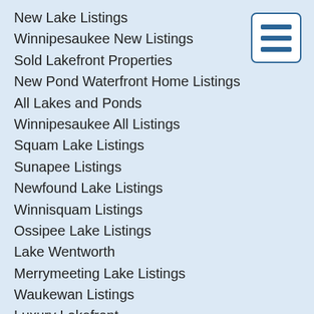New Lake Listings
Winnipesaukee New Listings
Sold Lakefront Properties
New Pond Waterfront Home Listings
All Lakes and Ponds
Winnipesaukee All Listings
Squam Lake Listings
Sunapee Listings
Newfound Lake Listings
Winnisquam Listings
Ossipee Lake Listings
Lake Wentworth
Merrymeeting Lake Listings
Waukewan Listings
Luxury Lakefront
Adirondack & Log Lakefront
Winnipesaukee Homes with Boathouse
Homes with Boathouses
Lake Communities
[Figure (other): Hamburger menu icon — three horizontal blue lines inside a white rounded rectangle with blue border]